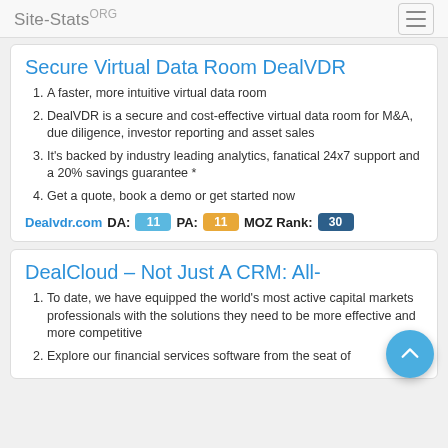Site-Stats.ORG
Secure Virtual Data Room DealVDR
A faster, more intuitive virtual data room
DealVDR is a secure and cost-effective virtual data room for M&A, due diligence, investor reporting and asset sales
It's backed by industry leading analytics, fanatical 24x7 support and a 20% savings guarantee *
Get a quote, book a demo or get started now
Dealvdr.com  DA: 11  PA: 11  MOZ Rank: 30
DealCloud – Not Just A CRM: All-
To date, we have equipped the world's most active capital markets professionals with the solutions they need to be more effective and more competitive
Explore our financial services software from the seat of